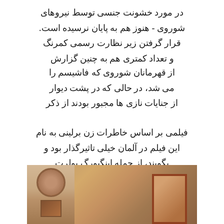در مورد خشونت جنسی توسط نیروهای
شوروی - هنوز هم به پایان نرسیده است.
قرار گرفتن زیر نظارت رسمی کمرنگ
و تعداد کمتری هم به چنین گزارش
از قهرمانان شوروی که فاشیسم را
می شد، در حالی که در پشت دیوار
از جنایات نازی ها مجبور بودند از ذکر
فیلمی بر اساس خاطرات زن برلینی به نام
این فیلم در آلمان خیلی تاثیرگذار بود و
بگویند، از جمله اینگبورگ بولرت
[Figure (photo): Indoor photograph showing a warm-toned room with framed pictures on the wall, including circular and rectangular frames in brown/orange tones, and a rectangular framed artwork on the right side.]